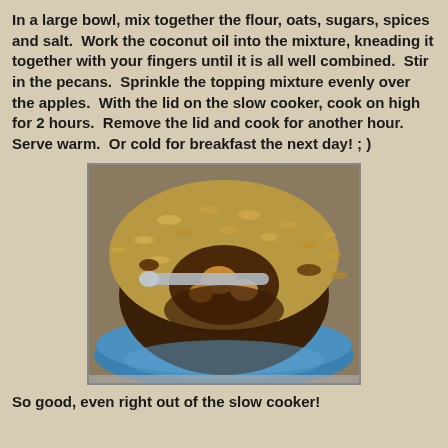In a large bowl, mix together the flour, oats, sugars, spices and salt.  Work the coconut oil into the mixture, kneading it together with your fingers until it is all well combined.  Stir in the pecans.  Sprinkle the topping mixture evenly over the apples.  With the lid on the slow cooker, cook on high for 2 hours.  Remove the lid and cook for another hour.  Serve warm.  Or cold for breakfast the next day! ; )
[Figure (photo): A blue bowl filled with apple crisp/crumble topped with oats and pecans, with a spoon lifting a portion showing cooked apple pieces underneath the golden oat topping.]
So good, even right out of the slow cooker!